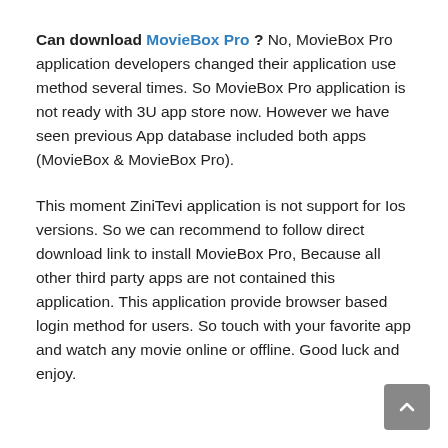Can download MovieBox Pro ? No, MovieBox Pro application developers changed their application use method several times. So MovieBox Pro application is not ready with 3U app store now. However we have seen previous App database included both apps (MovieBox & MovieBox Pro).
This moment ZiniTevi application is not support for Ios versions. So we can recommend to follow direct download link to install MovieBox Pro, Because all other third party apps are not contained this application. This application provide browser based login method for users. So touch with your favorite app and watch any movie online or offline. Good luck and enjoy.